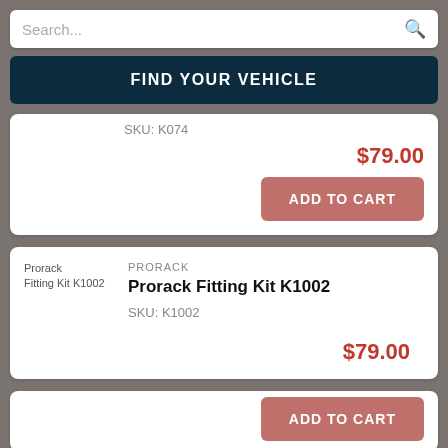Search...
FIND YOUR VEHICLE
SKU: K074
$79.00
ADD TO CART
[Figure (photo): Prorack Fitting Kit K1002 product image placeholder]
PRORACK
Prorack Fitting Kit K1002
SKU: K1002
$79.00